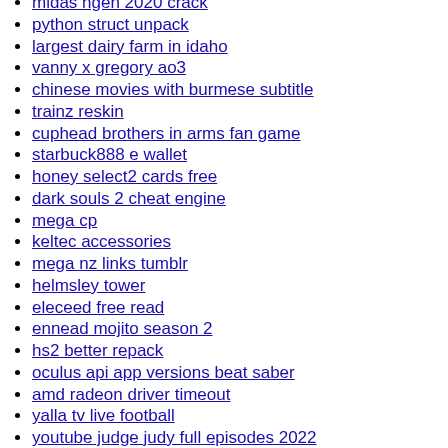midas ngen 2020 crack
python struct unpack
largest dairy farm in idaho
vanny x gregory ao3
chinese movies with burmese subtitle
trainz reskin
cuphead brothers in arms fan game
starbuck888 e wallet
honey select2 cards free
dark souls 2 cheat engine
mega cp
keltec accessories
mega nz links tumblr
helmsley tower
eleceed free read
ennead mojito season 2
hs2 better repack
oculus api app versions beat saber
amd radeon driver timeout
yalla tv live football
youtube judge judy full episodes 2022
young girls cunts up skirts pictures
ssi stimulus checks 2022
wifes sloppy pussy after black cock
tammy abraham boy kilo